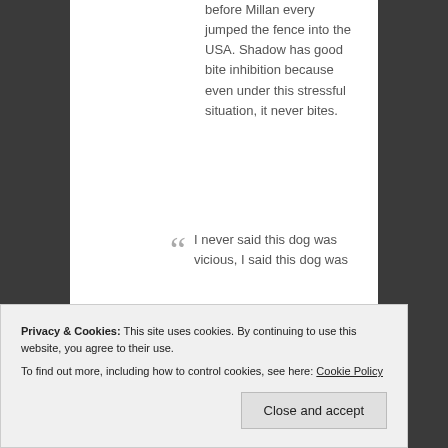before Millan every jumped the fence into the USA. Shadow has good bite inhibition because even under this stressful situation, it never bites.
“I never said this dog was vicious, I said this dog was
when he
Privacy & Cookies: This site uses cookies. By continuing to use this website, you agree to their use. To find out more, including how to control cookies, see here: Cookie Policy